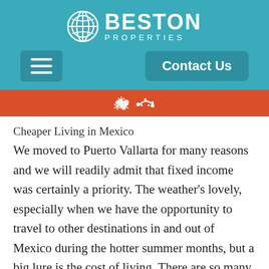[Figure (logo): Beston Properties logo with globe icon, white text on teal background, with hamburger menu button and Contact Us button]
[Figure (other): Red/orange bar with StumbleUpon icon]
Cheaper Living in Mexico
We moved to Puerto Vallarta for many reasons and we will readily admit that fixed income was certainly a priority. The weather's lovely, especially when we have the opportunity to travel to other destinations in and out of Mexico during the hotter summer months, but a big lure is the cost of living. There are so many ways to